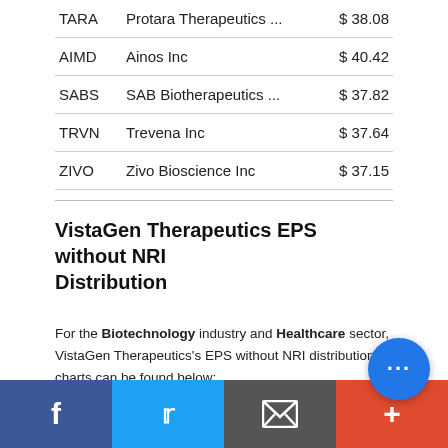| Ticker | Company | Price |
| --- | --- | --- |
| TARA | Protara Therapeutics ... | $ 38.08 |
| AIMD | Ainos Inc | $ 40.42 |
| SABS | SAB Biotherapeutics ... | $ 37.82 |
| TRVN | Trevena Inc | $ 37.64 |
| ZIVO | Zivo Bioscience Inc | $ 37.15 |
VistaGen Therapeutics EPS without NRI Distribution
For the Biotechnology industry and Healthcare sector, VistaGen Therapeutics's EPS without NRI distribution charts can be found below:
* The bar in red indicates where VistaGen Therapeutics's